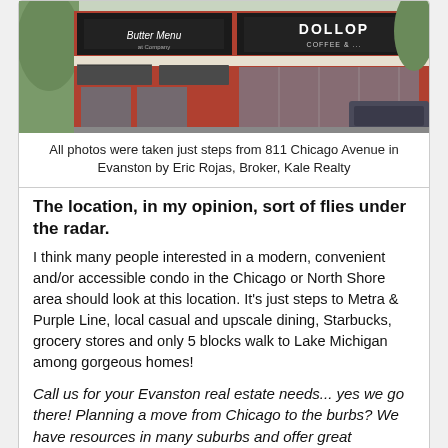[Figure (photo): Exterior photo of storefronts including Dollop Coffee shop and another business, brick building with awnings, taken near 811 Chicago Avenue in Evanston]
All photos were taken just steps from 811 Chicago Avenue in Evanston by Eric Rojas, Broker, Kale Realty
The location, in my opinion, sort of flies under the radar. I think many people interested in a modern, convenient and/or accessible condo in the Chicago or North Shore area should look at this location. It's just steps to Metra & Purple Line, local casual and upscale dining, Starbucks, grocery stores and only 5 blocks walk to Lake Michigan among gorgeous homes!
Call us for your Evanston real estate needs... yes we go there! Planning a move from Chicago to the burbs? We have resources in many suburbs and offer great commission structures for selling and buying sides.